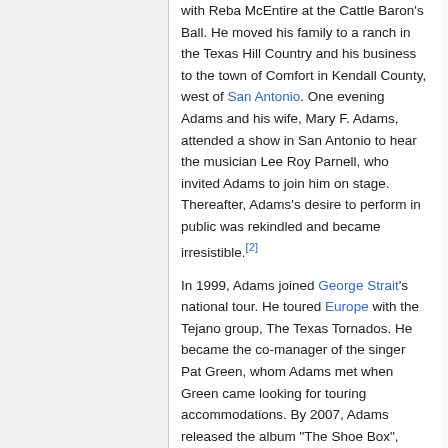with Reba McEntire at the Cattle Baron's Ball. He moved his family to a ranch in the Texas Hill Country and his business to the town of Comfort in Kendall County, west of San Antonio. One evening Adams and his wife, Mary F. Adams, attended a show in San Antonio to hear the musician Lee Roy Parnell, who invited Adams to join him on stage. Thereafter, Adams's desire to perform in public was rekindled and became irresistible.[2]
In 1999, Adams joined George Strait's national tour. He toured Europe with the Tejano group, The Texas Tornados. He became the co-manager of the singer Pat Green, whom Adams met when Green came looking for touring accommodations. By 2007, Adams released the album "The Shoe Box",